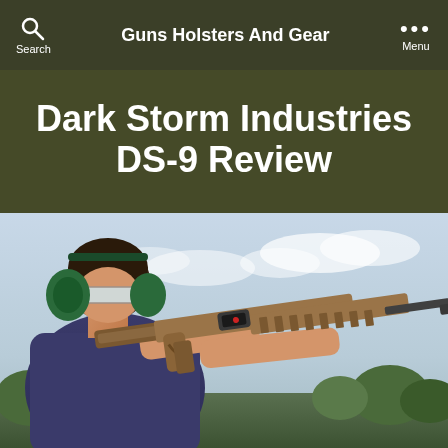Guns Holsters And Gear
Dark Storm Industries DS-9 Review
[Figure (photo): A person wearing safety glasses and green ear protection muffs, aiming a Dark Storm Industries DS-9 rifle (shown in flat dark earth / bronze finish with red dot optic and handguard) toward the right, outdoors with a light sky and trees in the background.]